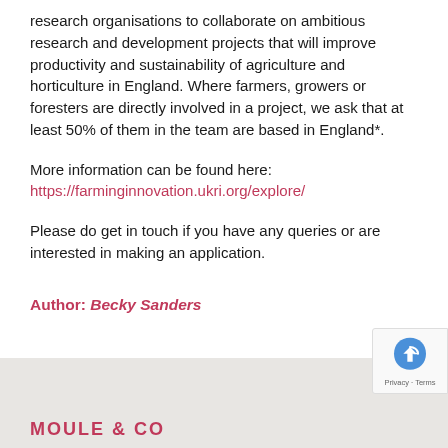research organisations to collaborate on ambitious research and development projects that will improve productivity and sustainability of agriculture and horticulture in England. Where farmers, growers or foresters are directly involved in a project, we ask that at least 50% of them in the team are based in England*.
More information can be found here: https://farminginnovation.ukri.org/explore/
Please do get in touch if you have any queries or are interested in making an application.
Author: Becky Sanders
MOULE & CO